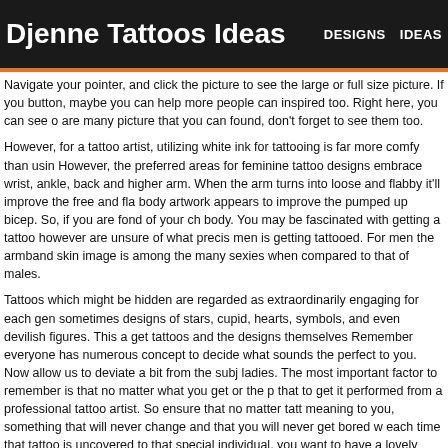Djenne Tattoos Ideas   DESIGNS   IDEAS
Navigate your pointer, and click the picture to see the large or full size picture. If you button, maybe you can help more people can inspired too. Right here, you can see o are many picture that you can found, don't forget to see them too.
However, for a tattoo artist, utilizing white ink for tattooing is far more comfy than usin However, the preferred areas for feminine tattoo designs embrace wrist, ankle, back and higher arm. When the arm turns into loose and flabby it'll improve the free and fla body artwork appears to improve the pumped up bicep. So, if you are fond of your ch body. You may be fascinated with getting a tattoo however are unsure of what precis men is getting tattooed. For men the armband skin image is among the many sexies when compared to that of males.
Tattoos which might be hidden are regarded as extraordinarily engaging for each gen sometimes designs of stars, cupid, hearts, symbols, and even devilish figures. This a get tattoos and the designs themselves Remember everyone has numerous concept to decide what sounds the perfect to you. Now allow us to deviate a bit from the subj ladies. The most important factor to remember is that no matter what you get or the p that to get it performed from a professional tattoo artist. So ensure that no matter tatt meaning to you, something that will never change and that you will never get bored w each time that tattoo is uncovered to that special individual, you want to have a lovely tattoo even sexier.